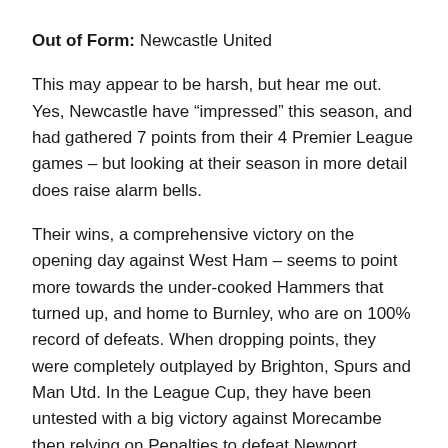Out of Form: Newcastle United
This may appear to be harsh, but hear me out. Yes, Newcastle have “impressed” this season, and had gathered 7 points from their 4 Premier League games – but looking at their season in more detail does raise alarm bells.
Their wins, a comprehensive victory on the opening day against West Ham – seems to point more towards the under-cooked Hammers that turned up, and home to Burnley, who are on 100% record of defeats. When dropping points, they were completely outplayed by Brighton, Spurs and Man Utd. In the League Cup, they have been untested with a big victory against Morecambe then relying on Penalties to defeat Newport County.